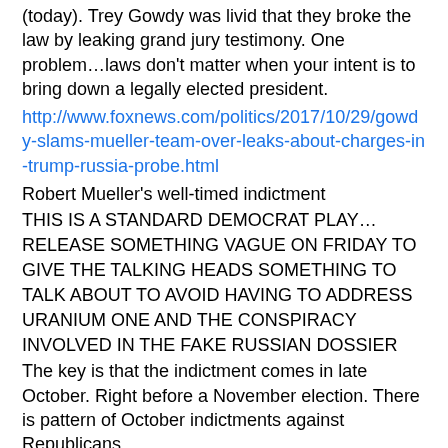(today). Trey Gowdy was livid that they broke the law by leaking grand jury testimony. One problem…laws don't matter when your intent is to bring down a legally elected president.
http://www.foxnews.com/politics/2017/10/29/gowdy-slams-mueller-team-over-leaks-about-charges-in-trump-russia-probe.html
Robert Mueller's well-timed indictment
THIS IS A STANDARD DEMOCRAT PLAY… RELEASE SOMETHING VAGUE ON FRIDAY TO GIVE THE TALKING HEADS SOMETHING TO TALK ABOUT TO AVOID HAVING TO ADDRESS URANIUM ONE AND THE CONSPIRACY INVOLVED IN THE FAKE RUSSIAN DOSSIER
The key is that the indictment comes in late October. Right before a November election. There is pattern of October indictments against Republicans.